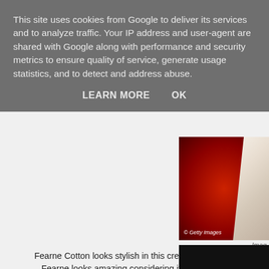This site uses cookies from Google to deliver its services and to analyze traffic. Your IP address and user-agent are shared with Google along with performance and security metrics to ensure quality of service, generate usage statistics, and to detect and address abuse.
LEARN MORE    OK
[Figure (photo): A person in a cream gown standing on a red carpet. Photo shows cream/beige fabric against a red gradient background. Getty Images watermark visible.]
Imag
Fearne Cotton looks stylish in this cream gown wit... Fearne looks amazing considering it's not long...
[Figure (photo): Partial bottom photo, dark/black background, cropped.]